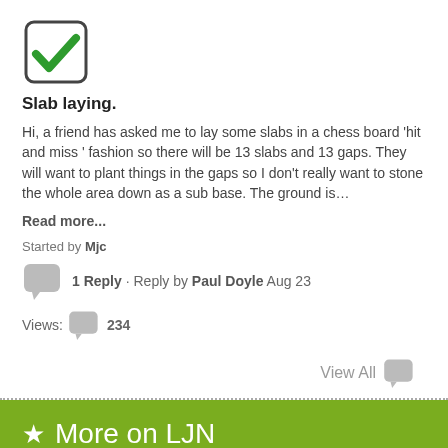[Figure (illustration): Green checkmark inside a rounded square border]
Slab laying.
Hi, a friend has asked me to lay some slabs in a chess board 'hit and miss ' fashion so there will be 13 slabs and 13 gaps. They will want to plant things in the gaps so I don't really want to stone the whole area down as a sub base. The ground is…
Read more...
Started by Mjc
1 Reply · Reply by Paul Doyle Aug 23
Views: 234
View All
★ More on LJN
Newsletter Sign-Up